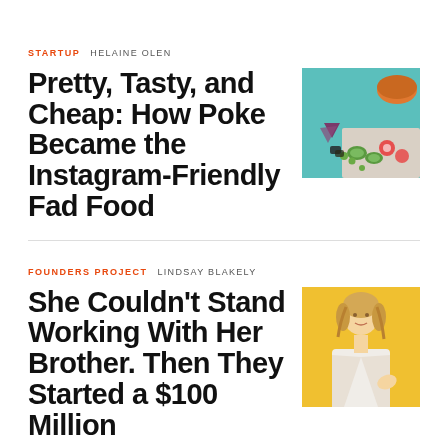STARTUP  HELAINE OLEN
Pretty, Tasty, and Cheap: How Poke Became the Instagram-Friendly Fad Food
[Figure (photo): Photo of colorful poke bowl ingredients including teal/turquoise background with fruits and vegetables]
FOUNDERS PROJECT  LINDSAY BLAKELY
She Couldn't Stand Working With Her Brother. Then They Started a $100 Million
[Figure (photo): Photo of a woman with blonde hair wearing a white blazer against a yellow background]